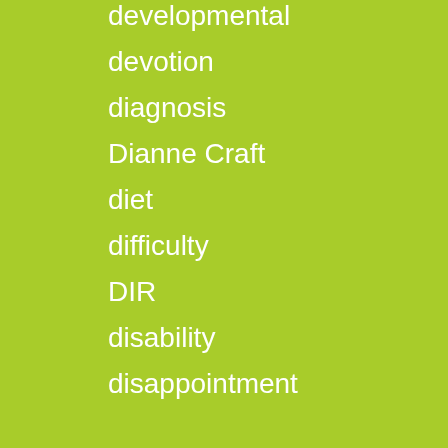developmental
devotion
diagnosis
Dianne Craft
diet
difficulty
DIR
disability
disappointment